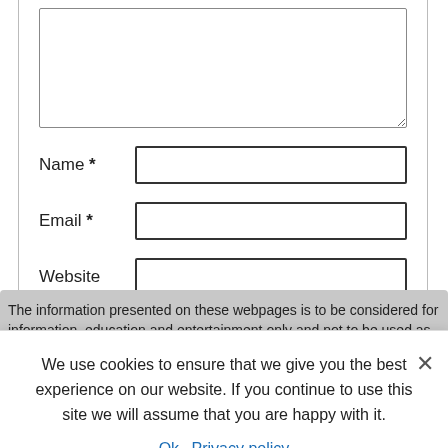[Figure (screenshot): Web form with textarea (partially visible), Name, Email, Website fields and Post Comment button]
The information presented on these webpages is to be considered for information, education and entertainment only and not to be used as a medical diagnosis. GHBoosters.com takes its responsibility seriously and strongly suggests that if you
We use cookies to ensure that we give you the best experience on our website. If you continue to use this site we will assume that you are happy with it.
Ok   Privacy policy